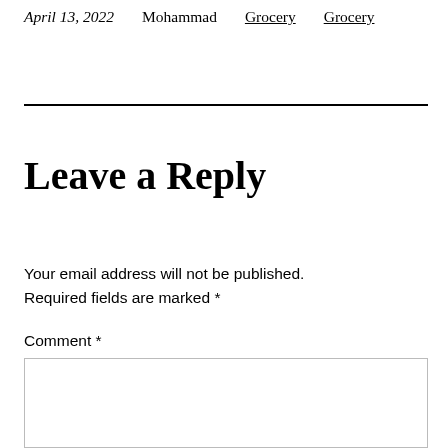April 13, 2022   Mohammad   Grocery   Grocery
Leave a Reply
Your email address will not be published. Required fields are marked *
Comment *